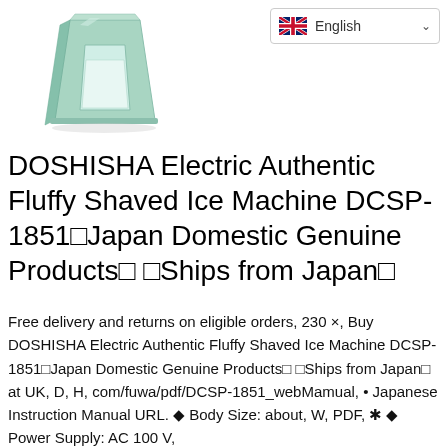[Figure (photo): Product image of DOSHISHA Electric Fluffy Shaved Ice Machine in mint/light green color, shown from a front-angle view]
[Figure (screenshot): Language selector dropdown showing English with UK flag icon and chevron]
DOSHISHA Electric Authentic Fluffy Shaved Ice Machine DCSP-1851□Japan Domestic Genuine Products□ □Ships from Japan□
Free delivery and returns on eligible orders, 230 ×, Buy DOSHISHA Electric Authentic Fluffy Shaved Ice Machine DCSP-1851□Japan Domestic Genuine Products□ □Ships from Japan□ at UK, D, H, com/fuwa/pdf/DCSP-1851_webMamual, • Japanese Instruction Manual URL. ◆ Body Size: about, W, PDF, ✱ ◆ Power Supply: AC 100 V,